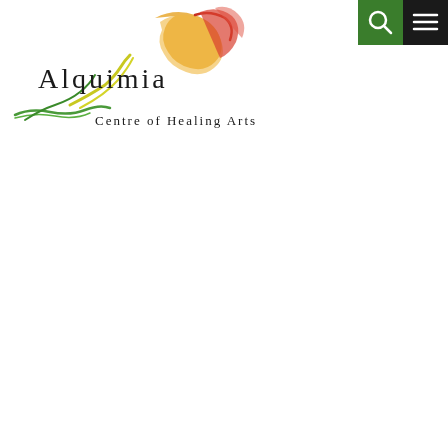[Figure (logo): Alquimia Centre of Healing Arts logo with colorful smoke/ink graphic and stylized text]
[Figure (other): Green search button with magnifying glass icon in top right area]
[Figure (other): Black hamburger menu button in top right corner]